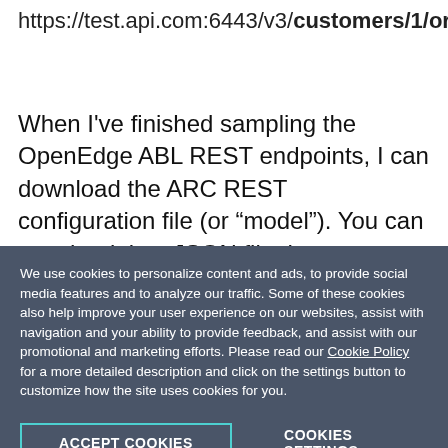https://test.api.com:6443/v3/customers/1/orders/10
When I've finished sampling the OpenEdge ABL REST endpoints, I can download the ARC REST configuration file (or “model”). You can see that it is a JSON file that describes the path to the REST
We use cookies to personalize content and ads, to provide social media features and to analyze our traffic. Some of these cookies also help improve your user experience on our websites, assist with navigation and your ability to provide feedback, and assist with our promotional and marketing efforts. Please read our Cookie Policy for a more detailed description and click on the settings button to customize how the site uses cookies for you.
ACCEPT COOKIES
COOKIES SETTINGS